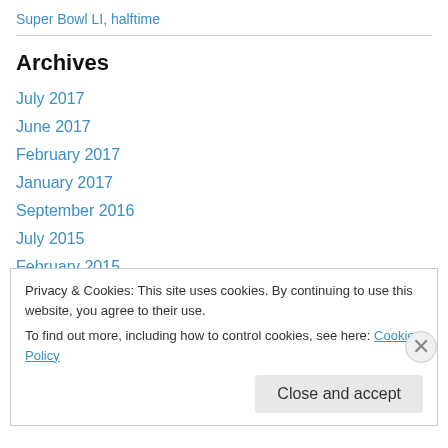Super Bowl LI, halftime
Archives
July 2017
June 2017
February 2017
January 2017
September 2016
July 2015
February 2015
January 2015
Privacy & Cookies: This site uses cookies. By continuing to use this website, you agree to their use. To find out more, including how to control cookies, see here: Cookie Policy
Close and accept